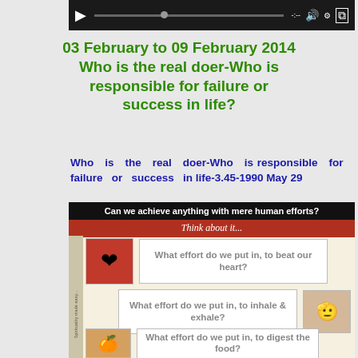[Figure (screenshot): Video player control bar at top of page]
03 February to 09 February 2014
Who is the real doer-Who is responsible for failure or success in life?
Who is the real doer-Who is responsible for failure or success in life-3.45-1990 May 29
[Figure (infographic): Infographic asking 'Can we achieve anything with mere human efforts? Think about it...' with three rows showing heart, lungs, and digestive system with questions: What effort do we put in, to beat our heart? What effort do we put in, to inhale & exhale? What effort do we put in, to digest the food?]